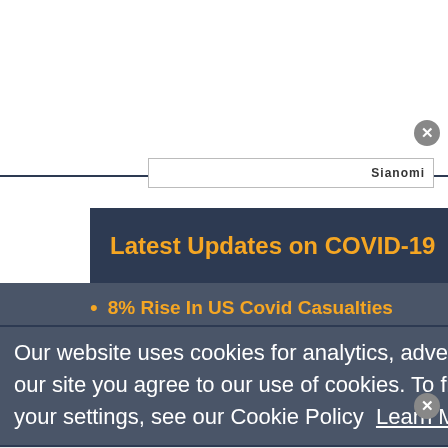[Figure (screenshot): Top white area of a webpage with a close button (X) in the top right corner and a partial Sianomi advertisement label at the bottom]
Latest Updates on COVID-19
8% Rise In US Covid Casualties
Our website uses cookies for analytics, advertising and to improve our site. By using our site you agree to our use of cookies. To find out more, including how to change your settings, see our Cookie Policy  Learn More